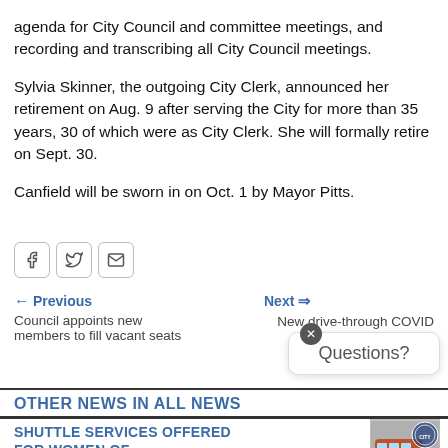agenda for City Council and committee meetings, and recording and transcribing all City Council meetings.
Sylvia Skinner, the outgoing City Clerk, announced her retirement on Aug. 9 after serving the City for more than 35 years, 30 of which were as City Clerk. She will formally retire on Sept. 30.
Canfield will be sworn in on Oct. 1 by Mayor Pitts.
[Figure (infographic): Social sharing buttons: Facebook, Twitter, Email]
← Previous
Council appoints new members to fill vacant seats
Next ⇒
New drive-through COVID testing sites available
Questions?
OTHER NEWS IN ALL NEWS
SHUTTLE SERVICES OFFERED FOR WOMEN OF CLARKSVILLE EXPO
[Figure (photo): Photo of a shuttle bus with city seal overlay]
Posted on: August 23, 2022